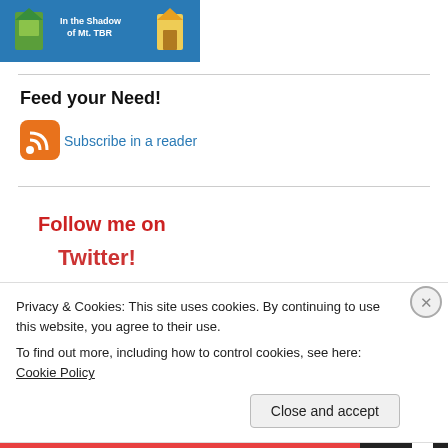[Figure (illustration): Partial view of a book challenge badge showing 'In the Shadow of Mt. TBR' text on a blue background with small illustrations]
Feed your Need!
[Figure (logo): Orange RSS feed icon]
Subscribe in a reader
Follow me on
Twitter!
Privacy & Cookies: This site uses cookies. By continuing to use this website, you agree to their use.
To find out more, including how to control cookies, see here: Cookie Policy
Close and accept